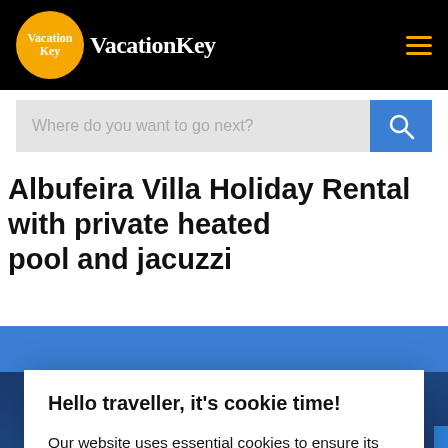VacationKey
Albufeira Villa Holiday Rental with private heated pool and jacuzzi
Hello traveller, it's cookie time!
Our website uses essential cookies to ensure its proper operation and tracking cookies to understand how you interact with it. The latter will be set only after consent. Privacy policy
Accept all
Preferences